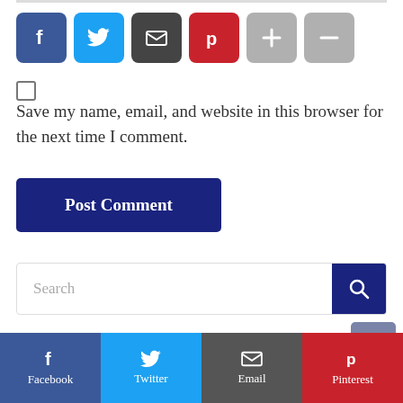[Figure (screenshot): Social share buttons row: Facebook (blue), Twitter (light blue), Email (dark gray), Pinterest (red), Plus (gray), Minus (gray)]
[Figure (screenshot): Checkbox (unchecked)]
Save my name, email, and website in this browser for the next time I comment.
[Figure (screenshot): Post Comment button (dark navy blue)]
[Figure (screenshot): Search bar with magnifier button]
Tweets by doveblogNG
[Figure (screenshot): Scroll to top button (gray-blue, chevron up)]
[Figure (screenshot): Bottom share bar: Facebook, Twitter, Email, Pinterest]